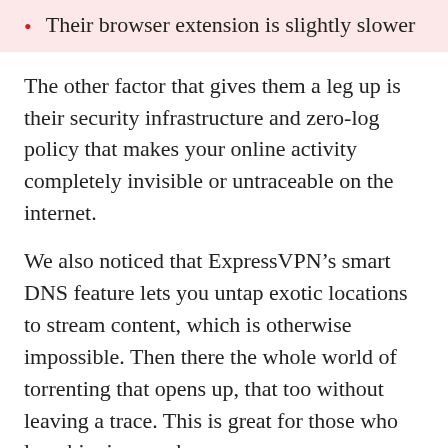Their browser extension is slightly slower
The other factor that gives them a leg up is their security infrastructure and zero-log policy that makes your online activity completely invisible or untraceable on the internet.
We also noticed that ExpressVPN’s smart DNS feature lets you untap exotic locations to stream content, which is otherwise impossible. Then there the whole world of torrenting that opens up, that too without leaving a trace. This is great for those who love binging on shows.
Exclusive deal: Get 3 extra months free when you sign up for a 12-month plan. That's a saving of 49%!